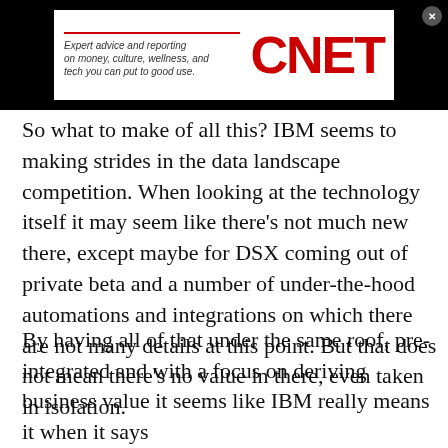[Figure (logo): CNET advertisement banner with tagline 'Expert advice and reporting on money, culture, wellness, and tech you can put to good use.' and CNET logo in red on white background, on black banner with close button]
So what to make of all this? IBM seems to making strides in the data landscape competition. When looking at the technology itself it may seem like there's not much new there, except maybe for DSX coming out of private beta and a number of under-the-hood automations and integrations on which there are not many details at this point. But that does not mean there's no value in there, even taken in isolation.
By having all of that under the same roof, pre-integrated and with a focus on deriving business value it seems like IBM really means it when it says